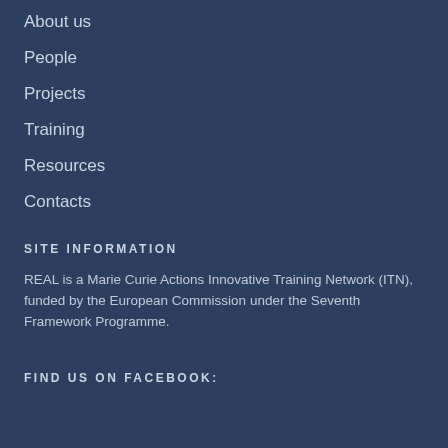About us
People
Projects
Training
Resources
Contacts
SITE INFORMATION
REAL is a Marie Curie Actions Innovative Training Network (ITN), funded by the European Commission under the Seventh Framework Programme.
FIND US ON FACEBOOK: